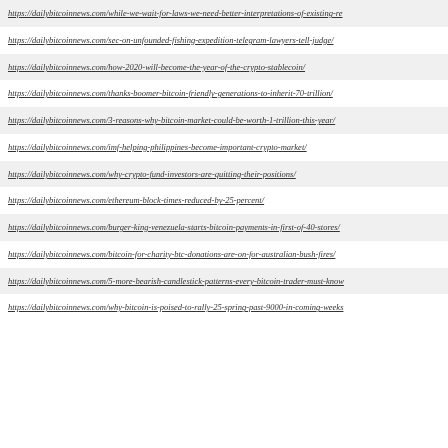https://dailybitcoinnews.com/while-we-wait-for-laws-we-need-better-interpretations-of-existing-re
https://dailybitcoinnews.com/sec-on-unfounded-fishing-expedition-telegram-lawyers-tell-judge/
https://dailybitcoinnews.com/how-2020-will-become-the-year-of-the-crypto-stablecoin/
https://dailybitcoinnews.com/thanks-boomer-bitcoin-friendly-generations-to-inherit-70-trillion/
https://dailybitcoinnews.com/3-reasons-why-bitcoin-market-could-be-worth-1-trillion-this-year/
https://dailybitcoinnews.com/imf-helping-philippines-become-important-crypto-market/
https://dailybitcoinnews.com/why-crypto-fund-investors-are-quitting-their-positions/
https://dailybitcoinnews.com/ethereum-block-times-reduced-by-25-percent/
https://dailybitcoinnews.com/burger-king-venezuela-starts-bitcoin-payments-in-first-of-40-stores/
https://dailybitcoinnews.com/bitcoin-for-charity-btc-donations-are-on-for-australian-bush-fires/
https://dailybitcoinnews.com/5-more-bearish-candlestick-patterns-every-bitcoin-trader-must-know
https://dailybitcoinnews.com/why-bitcoin-is-poised-to-rally-25-spring-past-9000-in-coming-weeks